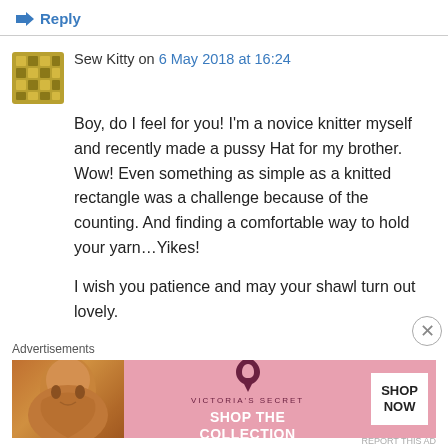↳ Reply
Sew Kitty on 6 May 2018 at 16:24
Boy, do I feel for you! I'm a novice knitter myself and recently made a pussy Hat for my brother. Wow! Even something as simple as a knitted rectangle was a challenge because of the counting. And finding a comfortable way to hold your yarn…Yikes!
I wish you patience and may your shawl turn out lovely.
Advertisements
[Figure (photo): Victoria's Secret advertisement banner with model, VS logo, 'SHOP THE COLLECTION' text, and 'SHOP NOW' button]